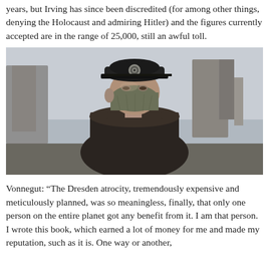years, but Irving has since been discredited (for among other things, denying the Holocaust and admiring Hitler) and the figures currently accepted are in the range of 25,000, still an awful toll.
[Figure (photo): A man wearing a dark military-style uniform and cap with a cockade insignia, and an olive-green cloth face mask, standing in front of stone ruins in an overcast outdoor setting.]
Vonnegut: “The Dresden atrocity, tremendously expensive and meticulously planned, was so meaningless, finally, that only one person on the entire planet got any benefit from it. I am that person. I wrote this book, which earned a lot of money for me and made my reputation, such as it is. One way or another,